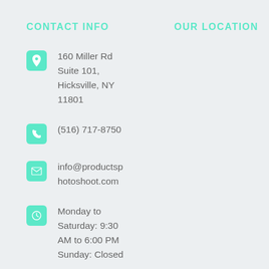CONTACT INFO
OUR LOCATION
160 Miller Rd Suite 101, Hicksville, NY 11801
(516) 717-8750
info@productsphotoshoot.com
Monday to Saturday: 9:30 AM to 6:00 PM Sunday: Closed